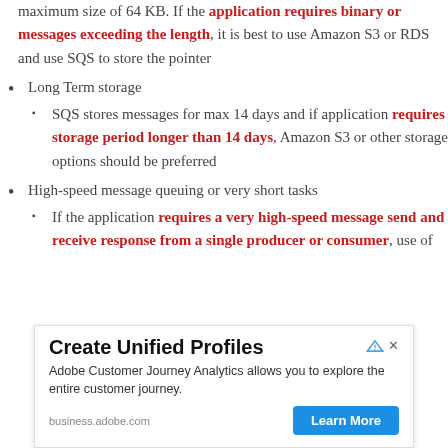maximum size of 64 KB. If the application requires binary or messages exceeding the length, it is best to use Amazon S3 or RDS and use SQS to store the pointer
Long Term storage
SQS stores messages for max 14 days and if application requires storage period longer than 14 days, Amazon S3 or other storage options should be preferred
High-speed message queuing or very short tasks
If the application requires a very high-speed message send and receive response from a single producer or consumer, use of
[Figure (other): Advertisement banner for Adobe Customer Journey Analytics — Create Unified Profiles. Text: Adobe Customer Journey Analytics allows you to explore the entire customer journey. URL: business.adobe.com. Button: Learn More.]